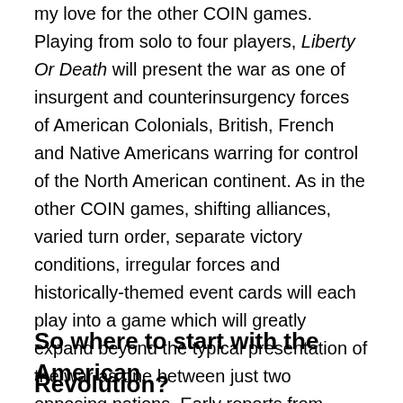my love for the other COIN games. Playing from solo to four players, Liberty Or Death will present the war as one of insurgent and counterinsurgency forces of American Colonials, British, French and Native Americans warring for control of the North American continent. As in the other COIN games, shifting alliances, varied turn order, separate victory conditions, irregular forces and historically-themed event cards will each play into a game which will greatly expand beyond the typical presentation of the war as one between just two opposing nations. Early reports from game tests and some sneak looks at artwork make this my personally most anticipated game of the year, and I'll surely be back with a full report in the coming months.
So where to start with the American Revolution?